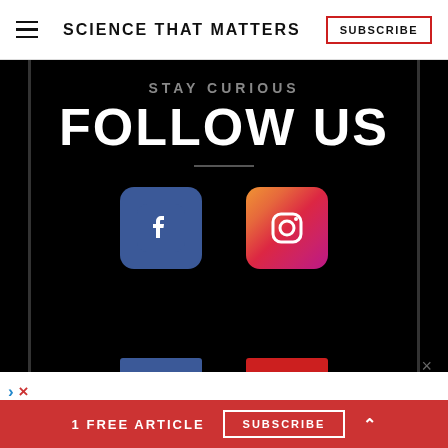SCIENCE THAT MATTERS | SUBSCRIBE
[Figure (screenshot): Black banner with 'STAY CURIOUS' and 'FOLLOW US' text, Facebook and Instagram social media icons on black background, with partial blue and red buttons at bottom]
×
> ×
1 FREE ARTICLE  SUBSCRIBE  ^